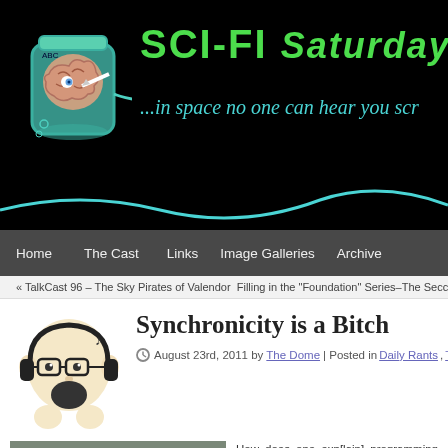[Figure (logo): Sci-Fi Saturday Night website header banner with brain-in-jar logo and green/teal text on black background]
SCI-FI Saturday Night ...in space no one can hear you scr[eam]
Home | The Cast | Links | Image Galleries | Archive
« TalkCast 96 – The Sky Pirates of Valendor Filling in the "Foundation" Series–The Secc
[Figure (illustration): Cartoon mascot character – a bald head with glasses, holding something]
Synchronicity is a Bitch
August 23rd, 2011 by The Dome | Posted in Daily Rants, TV
[Figure (photo): Photo of a man and woman in front of Paris buildings (two celebrities)]
How does one exp[lain] programming an[d] networks? Is it a[n] quality of progra[m] issue with panderi[ng] know little about? Y[et] and pandering to[...]